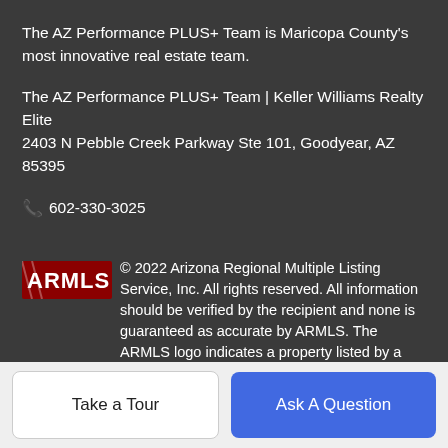The AZ Performance PLUS+ Team is Maricopa County's most innovative real estate team.
The AZ Performance PLUS+ Team | Keller Williams Realty Elite
2403 N Pebble Creek Parkway Ste 101, Goodyear, AZ 85395
📞 602-330-3025
[Figure (logo): ARMLS logo in red]
© 2022 Arizona Regional Multiple Listing Service, Inc. All rights reserved. All information should be verified by the recipient and none is guaranteed as accurate by ARMLS. The ARMLS logo indicates a property listed by a real estate brokerage other than The AZ Performance PLUS+ Team | Keller Williams Realty Elite. Data last updated 2022-08-19T00:16:49.107.
BoomTown! © 2022
Take a Tour
Ask A Question